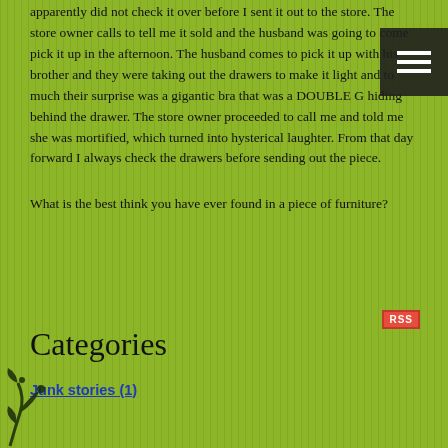apparently did not check it over before I sent it out to the store. The store owner calls to tell me it sold and the husband was going to come pick it up in the afternoon. The husband comes to pick it up with his brother and they were taking out the drawers to make it light and to much their surprise was a gigantic bra that was a DOUBLE G hiding behind the drawer. The store owner proceeded to call me and told me she was mortified, which turned into hysterical laughter. From that day forward I always check the drawers before sending out the piece.
What is the best think you have ever found in a piece of furniture?
[Figure (other): Navigation hamburger menu icon — three white horizontal lines on dark background]
[Figure (other): RSS badge — red rectangle with white RSS text]
Categories
Junk stories (1)
[Figure (illustration): Decorative floral/vine scroll illustration in dark color at bottom left corner]